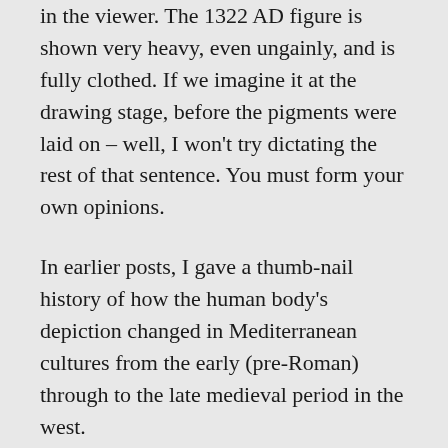in the viewer. The 1322 AD figure is shown very heavy, even ungainly, and is fully clothed. If we imagine it at the drawing stage, before the pigments were laid on – well, I won't try dictating the rest of that sentence. You must form your own opinions.
In earlier posts, I gave a thumb-nail history of how the human body's depiction changed in Mediterranean cultures from the early (pre-Roman) through to the late medieval period in the west.
We found that naked female forms occur relatively late in the history of Greek art, and how...